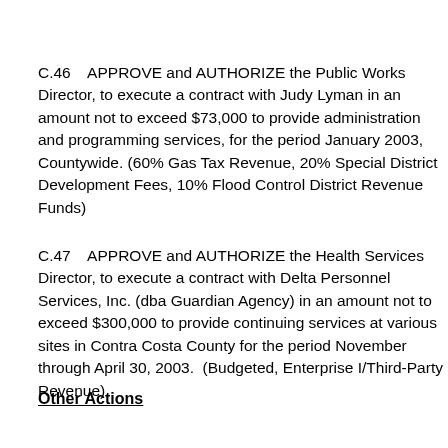C.46    APPROVE and AUTHORIZE the Public Works Director, to execute a contract with Judy Lyman in an amount not to exceed $73,000 to provide administration and programming services, for the period January 2003, Countywide. (60% Gas Tax Revenue, 20% Special District Development Fees, 10% Flood Control District Revenue Funds)
C.47    APPROVE and AUTHORIZE the Health Services Director, to execute a contract with Delta Personnel Services, Inc. (dba Guardian Agency) in an amount not to exceed $300,000 to provide continuing services at various sites in Contra Costa County for the period November through April 30, 2003.  (Budgeted, Enterprise I/Third-Party Revenue)
Other Actions